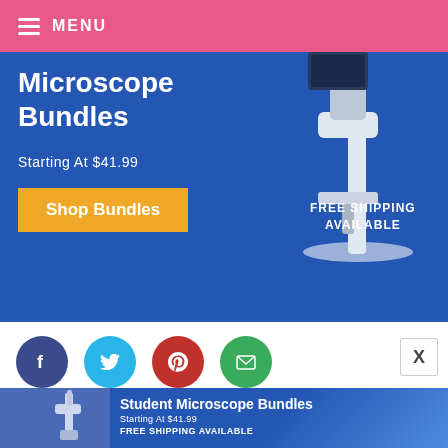MENU
[Figure (photo): Advertisement banner for Microscope Bundles Starting At $41.99 with Shop Bundles button and FREE SHIPPING AVAILABLE text, blue background with white microscope image]
[Figure (infographic): Social sharing icons: Facebook (dark blue), Twitter (cyan), Pinterest (red), Email (green)]
CATEGORIES: CAKES, COOKIES, GIVEAWAYS, VALENTINE'S DAY   849 COMMENTS »
TAGS: RECIPE
[Figure (photo): Partial bottom advertisement banner: Student Microscope Bundles Starting At $41.99 FREE SHIPPING AVAILABLE, blue background with microscope image]